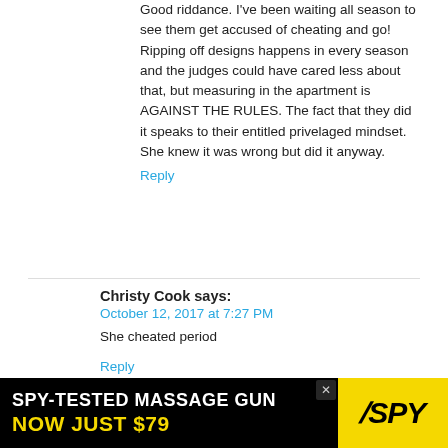Good riddance. I've been waiting all season to see them get accused of cheating and go! Ripping off designs happens in every season and the judges could have cared less about that, but measuring in the apartment is AGAINST THE RULES. The fact that they did it speaks to their entitled privelaged mindset. She knew it was wrong but did it anyway.
Reply
Christy Cook says:
October 12, 2017 at 7:27 PM
She cheated period
Reply
[Figure (infographic): Advertisement banner: SPY-TESTED MASSAGE GUN NOW JUST $79 with SPY logo in yellow on black background]